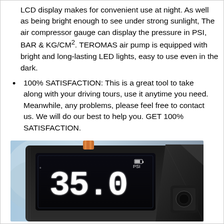LCD display makes for convenient use at night. As well as being bright enough to see under strong sunlight, The air compressor gauge can display the pressure in PSI, BAR & KG/CM². TEROMAS air pump is equipped with bright and long-lasting LED lights, easy to use even in the dark.
100% SATISFACTION: This is a great tool to take along with your driving tours, use it anytime you need. Meanwhile, any problems, please feel free to contact us. We will do our best to help you. GET 100% SATISFACTION.
[Figure (photo): Product photo of TEROMAS air pump/compressor showing LCD display reading 35.0 PSI in white digits, with a dark device body and another device visible in the background.]